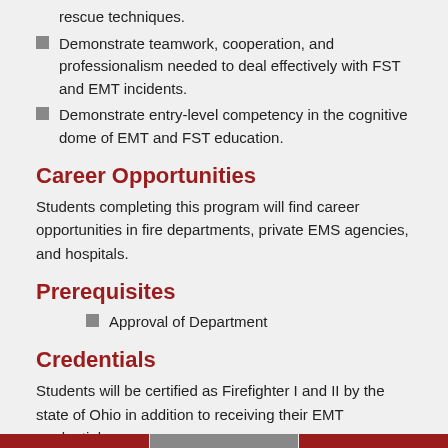rescue techniques.
Demonstrate teamwork, cooperation, and professionalism needed to deal effectively with FST and EMT incidents.
Demonstrate entry-level competency in the cognitive dome of EMT and FST education.
Career Opportunities
Students completing this program will find career opportunities in fire departments, private EMS agencies, and hospitals.
Prerequisites
Approval of Department
Credentials
Students will be certified as Firefighter I and II by the state of Ohio in addition to receiving their EMT credential.
CURRICULUM   Pathway: Part-time  Go